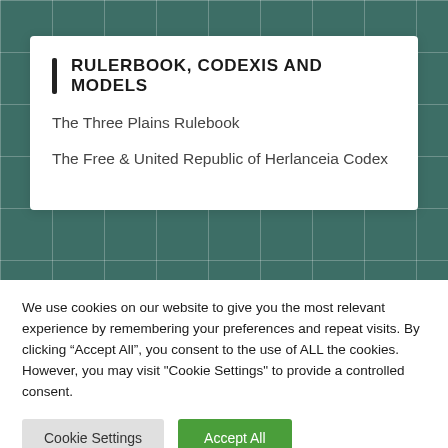RULERBOOK, CODEXIS AND MODELS
The Three Plains Rulebook
The Free & United Republic of Herlanceia Codex
We use cookies on our website to give you the most relevant experience by remembering your preferences and repeat visits. By clicking “Accept All”, you consent to the use of ALL the cookies. However, you may visit "Cookie Settings" to provide a controlled consent.
Cookie Settings
Accept All